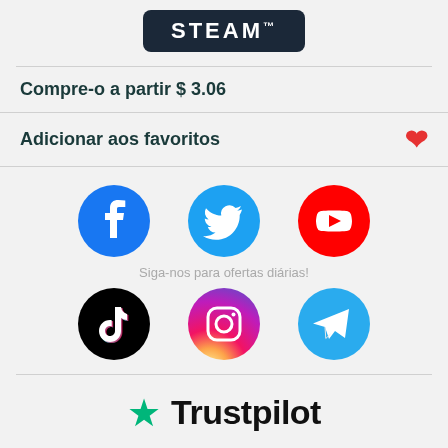[Figure (logo): Steam logo badge with dark background]
Compre-o a partir $ 3.06
Adicionar aos favoritos
[Figure (infographic): Social media icons: Facebook, Twitter, YouTube, TikTok, Instagram, Telegram with caption 'Siga-nos para ofertas diárias!']
Siga-nos para ofertas diárias!
[Figure (logo): Trustpilot logo with green star]